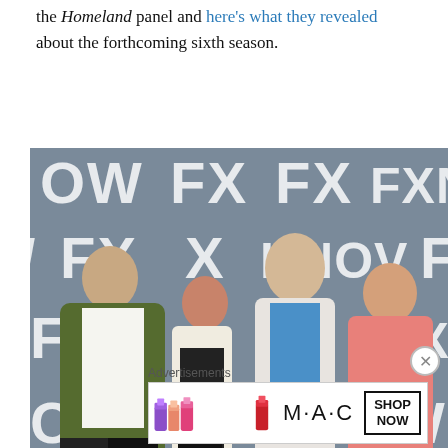the Homeland panel and here's what they revealed about the forthcoming sixth season.
[Figure (photo): Four people (two men and two women) posing in front of an FX / FXNOW branded backdrop at what appears to be a press event or panel.]
Advertisements
[Figure (photo): MAC Cosmetics advertisement showing lipsticks and a 'SHOP NOW' button.]